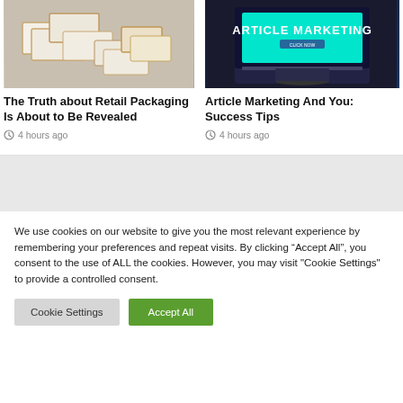[Figure (photo): White and gold cardboard boxes arranged on a gray surface]
The Truth about Retail Packaging Is About to Be Revealed
4 hours ago
[Figure (photo): Laptop screen showing Article Marketing website]
Article Marketing And You: Success Tips
4 hours ago
We use cookies on our website to give you the most relevant experience by remembering your preferences and repeat visits. By clicking “Accept All”, you consent to the use of ALL the cookies. However, you may visit "Cookie Settings" to provide a controlled consent.
Cookie Settings
Accept All